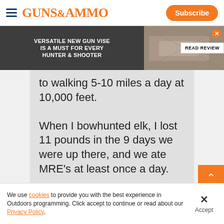Guns & Ammo | Subscribe
[Figure (screenshot): Advertisement banner: VERSATILE NEW GUN VISE IS A MUST FOR EVERY HUNTER & SHOOTER with READ REVIEW button]
to walking 5-10 miles a day at 10,000 feet. When I bowhunted elk, I lost 11 pounds in the 9 days we were up there, and we ate MRE's at least once a day.
Joe amd wolf I already have a gym membership and I walk about 3 miles
We use cookies to provide you with the best experience in Outdoors programming. Click accept to continue or read about our Privacy Policy.